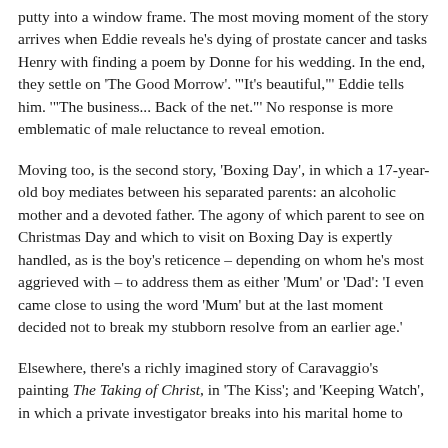putty into a window frame. The most moving moment of the story arrives when Eddie reveals he's dying of prostate cancer and tasks Henry with finding a poem by Donne for his wedding. In the end, they settle on 'The Good Morrow'. '"It's beautiful,"' Eddie tells him. '"The business... Back of the net."' No response is more emblematic of male reluctance to reveal emotion.
Moving too, is the second story, 'Boxing Day', in which a 17-year-old boy mediates between his separated parents: an alcoholic mother and a devoted father. The agony of which parent to see on Christmas Day and which to visit on Boxing Day is expertly handled, as is the boy's reticence – depending on whom he's most aggrieved with – to address them as either 'Mum' or 'Dad': 'I even came close to using the word 'Mum' but at the last moment decided not to break my stubborn resolve from an earlier age.'
Elsewhere, there's a richly imagined story of Caravaggio's painting The Taking of Christ, in 'The Kiss'; and 'Keeping Watch', in which a private investigator breaks into his marital home to